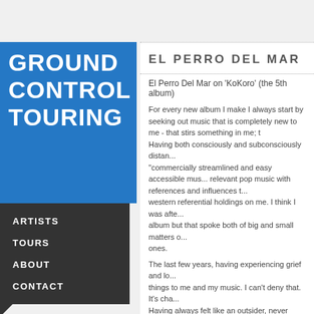GROUND CONTROL TOURING
ARTISTS
TOURS
ABOUT
CONTACT
EL PERRO DEL MAR
El Perro Del Mar on 'KoKoro' (the 5th album)
For every new album I make I always start by seeking out music that is completely new to me - that stirs something in me; that challenges me. Having both consciously and subconsciously distancing myself from "commercially streamlined and easy accessible music" I was after relevant pop music with references and influences that loosen the western referential holdings on me. I think I was after not only a pop album but that spoke both of big and small matters of life, even small ones.
The last few years, having experiencing grief and loss has changed things to me and my music. I can't deny that. It's changed me a lot. Having always felt like an outsider, never finding a place, that changed just that the second my son came to me. Having him gave me a belonging, something I've never felt before and I can't or rather won't let go of.
'KoKoro' is about the vulnerability and the strength o
NEWS & PRESS